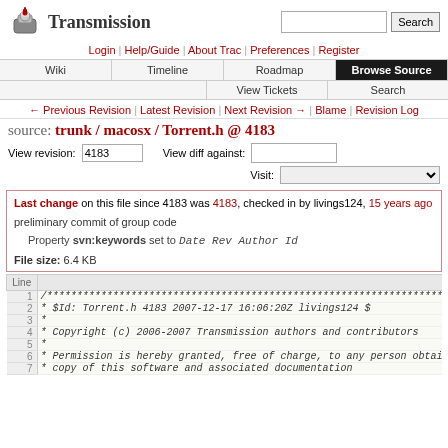Transmission [logo] | Search
Login | Help/Guide | About Trac | Preferences | Register
Wiki | Timeline | Roadmap | Browse Source | View Tickets | Search
← Previous Revision | Latest Revision | Next Revision → | Blame | Revision Log
source: trunk / macosx / Torrent.h @ 4183
View revision: 4183   View diff against:
Visit:
Last change on this file since 4183 was 4183, checked in by livings124, 15 years ago
preliminary commit of group code
Property svn:keywords set to Date Rev Author Id
File size: 6.4 KB
| Line |  |
| --- | --- |
| 1 | /****************************************************************** |
| 2 |  * $Id: Torrent.h 4183 2007-12-17 16:06:20Z livings124 $ |
| 3 |  * |
| 4 |  * Copyright (c) 2006-2007 Transmission authors and contributors |
| 5 |  * |
| 6 |  * Permission is hereby granted, free of charge, to any person obtaining a |
| 7 |  * copy of this software and associated documentation |